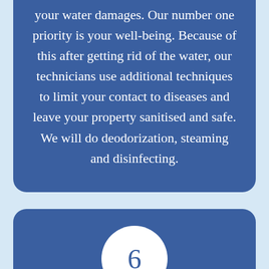your water damages. Our number one priority is your well-being. Because of this after getting rid of the water, our technicians use additional techniques to limit your contact to diseases and leave your property sanitised and safe. We will do deodorization, steaming and disinfecting.
6